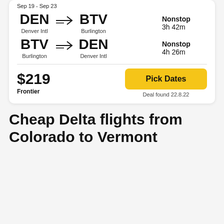Sep 19 - Sep 23
DEN → BTV | Denver Intl to Burlington | Nonstop | 3h 42m
BTV → DEN | Burlington to Denver Intl | Nonstop | 4h 26m
$219
Frontier
Pick Dates
Deal found 22.8.22
Cheap Delta flights from Colorado to Vermont